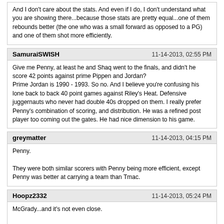And I don't care about the stats. And even if I do, I don't understand what you are showing there...because those stats are pretty equal...one of them rebounds better (the one who was a small forward as opposed to a PG) and one of them shot more efficiently.
SamuraiSWISH
11-14-2013, 02:55 PM
Give me Penny, at least he and Shaq went to the finals, and didn't he score 42 points against prime Pippen and Jordan?
Prime Jordan is 1990 - 1993. So no. And I believe you're confusing his lone back to back 40 point games against Riley's Heat. Defensive juggernauts who never had double 40s dropped on them. I really prefer Penny's combination of scoring, and distribution. He was a refined post player too coming out the gates. He had nice dimension to his game.
greymatter
11-14-2013, 04:15 PM
Penny.

They were both similar scorers with Penny being more efficient, except Penny was better at carrying a team than Tmac.
Hoopz2332
11-14-2013, 05:24 PM
McGrady...and it's not even close.

this
Powered by vBulletin® Version 4.2.5 Copyright © 2022 vBulletin Solutions Inc. All rights reserved.